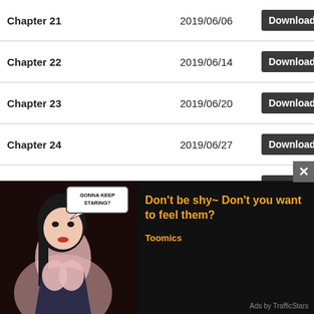| Chapter | Date | Action |
| --- | --- | --- |
| Chapter 21 | 2019/06/06 | Download |
| Chapter 22 | 2019/06/14 | Download |
| Chapter 23 | 2019/06/20 | Download |
| Chapter 24 | 2019/06/27 | Download |
| Chapter 25 | 2019/07/04 | Download |
| Chapter 26 | 2019/07/25 | Download |
| Chapter 27 - Final Exam | 2019/08/01 | Download |
| Chapter 28 - Full Contact | 2019/08/08 | Download |
| Chapter 29 | 2019/08/15 | Download |
| Chapter 30 | 2019/08/22 | Download |
[Figure (illustration): Advertisement overlay showing manga-style illustration of a woman with speech bubble saying 'GONNA KEEP STARING?' alongside text 'Don't be shy~ Don't you want to feel them?' and brand 'Toomics'. Close button visible. Footer: 'Ads by TrafficStars'.]